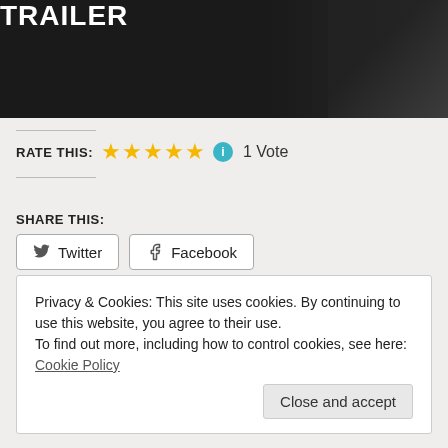[Figure (screenshot): Dark background with white bold uppercase text 'TRAILER' at top left, appears to be a movie trailer thumbnail with a person partially visible on the right]
RATE THIS: ★★★★★ ℹ 1 Vote
SHARE THIS:
Twitter
Facebook
Loading...
Privacy & Cookies: This site uses cookies. By continuing to use this website, you agree to their use.
To find out more, including how to control cookies, see here: Cookie Policy
Close and accept